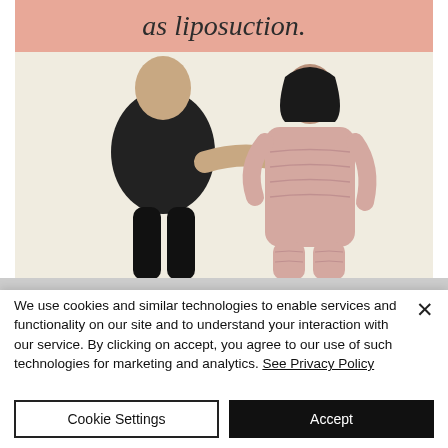as liposuction.
[Figure (photo): A medical professional dressed in black assisting a patient wearing a light pink compression/bandage garment that covers the torso and legs, against a cream background.]
We use cookies and similar technologies to enable services and functionality on our site and to understand your interaction with our service. By clicking on accept, you agree to our use of such technologies for marketing and analytics. See Privacy Policy